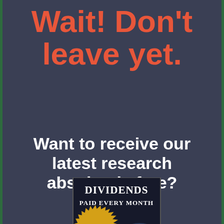Wait! Don't leave yet.
Want to receive our latest research absolutely free?
[Figure (illustration): Book cover for 'Dividends Paid Every Month' with a gold 'Yours Free' seal badge in the bottom left corner, showing gears in the background on a dark cover.]